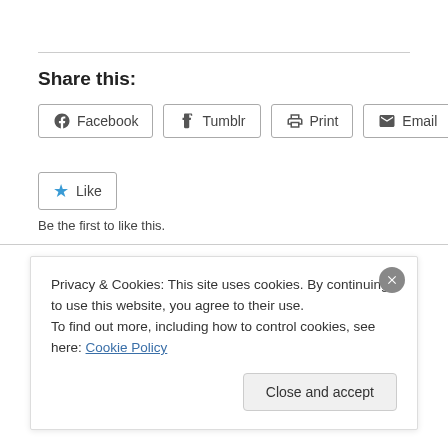Share this:
Facebook  Tumblr  Print  Email
★ Like
Be the first to like this.
Related
Privacy & Cookies: This site uses cookies. By continuing to use this website, you agree to their use. To find out more, including how to control cookies, see here: Cookie Policy
Close and accept